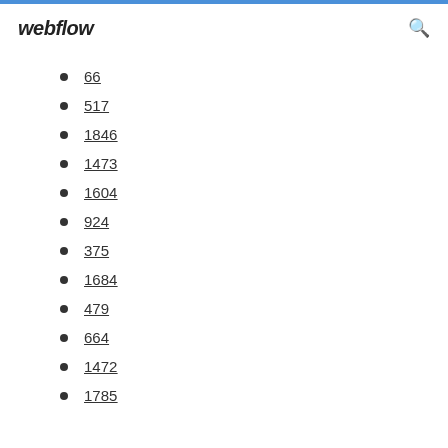webflow
66
517
1846
1473
1604
924
375
1684
479
664
1472
1785